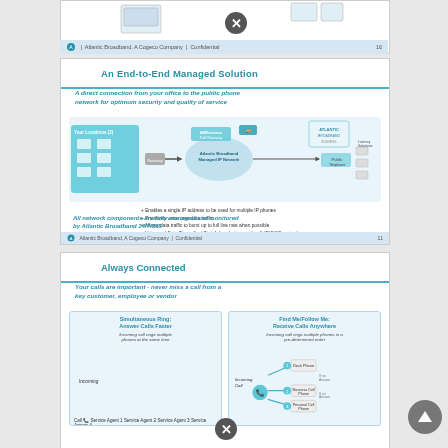[Figure (infographic): Partial bottom strip of previous slide showing Atlantic Broadband logo and page 16 footer]
[Figure (infographic): Slide titled 'An End-to-End Managed Solution' with network diagram showing direct connection from office to public phone network via Atlantic Broadband Managed IP Network. Subtitle: A direct connection from your office to the public phone network for optimum security and quality of service. Bottom text: All network components are fully managed and monitored by Atlantic Broadband 24/7/365]
[Figure (infographic): Slide titled 'Always Connected' with two panels: Simultaneous Ring (Answer Calls Faster) and Find Me/Follow Me (Receive Calls Anywhere). Subtitle: Your calls are important - never miss a call from a key customer, employee or vendor]